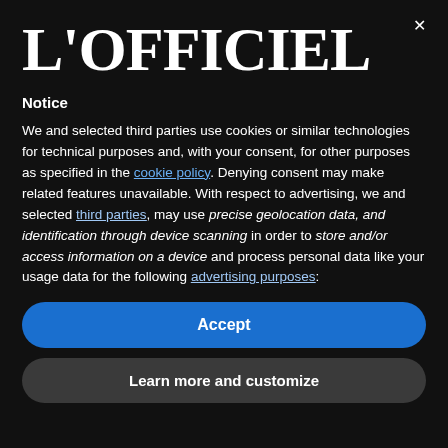[Figure (logo): L'OFFICIEL logo in large serif bold white text on black background]
Notice
We and selected third parties use cookies or similar technologies for technical purposes and, with your consent, for other purposes as specified in the cookie policy. Denying consent may make related features unavailable. With respect to advertising, we and selected third parties, may use precise geolocation data, and identification through device scanning in order to store and/or access information on a device and process personal data like your usage data for the following advertising purposes:
Accept
Learn more and customize